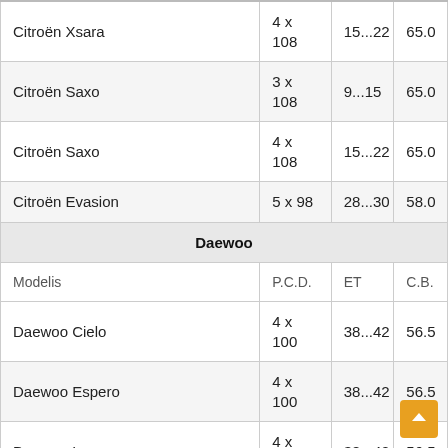| Modelis | P.C.D. | ET | C.B. |
| --- | --- | --- | --- |
| Citroën Xsara | 4 x 108 | 15...22 | 65.0 |
| Citroën Saxo | 3 x 108 | 9...15 | 65.0 |
| Citroën Saxo | 4 x 108 | 15...22 | 65.0 |
| Citroën Evasion | 5 x 98 | 28...30 | 58.0 |
| Daewoo |  |  |  |
| Modelis | P.C.D. | ET | C.B. |
| Daewoo Cielo | 4 x 100 | 38...42 | 56.5 |
| Daewoo Espero | 4 x 100 | 38...42 | 56.5 |
| Daewoo Lanos | 4 x 100 | 38...42 | 56.5 |
| Daewoo Leganza | 5 x 114.3 | 35...42 | 56.5 |
| Daewoo Matiz | 4 x 114.3 | 38 | 69.1 |
| Daewoo Nexia | 4 x 100 | 38...42 | 56.5 |